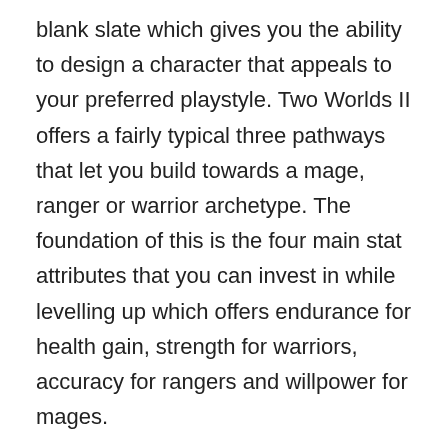blank slate which gives you the ability to design a character that appeals to your preferred playstyle. Two Worlds II offers a fairly typical three pathways that let you build towards a mage, ranger or warrior archetype. The foundation of this is the four main stat attributes that you can invest in while levelling up which offers endurance for health gain, strength for warriors, accuracy for rangers and willpower for mages.
This is then layered with a variety of game skills which do allow some hybrid character styles to develop although are going to be mainly reserved for advanced players. Split into warrior, ranger and mage skills it's always clear where your focus should be for your end game goal and can be invested in with a blend at a to a minor...